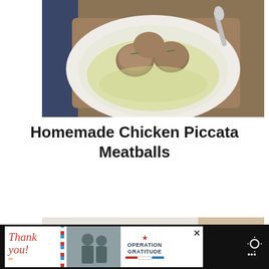[Figure (photo): A white plate with chicken piccata meatballs in a creamy herb sauce, photographed from above on a wooden board with a spoon visible, dark blue cloth in background.]
Homemade Chicken Piccata Meatballs
[Figure (photo): A bowl of stir-fried chicken with colorful vegetables (green peppers, red peppers, mushrooms) over yellow rice/quinoa, with chopsticks resting across the bowl on a white wood surface with burlap fabric.]
[Figure (other): Advertisement banner: 'Thank you!' text with American flag motif, photo of military personnel, Operation Gratitude logo with star and stripes.]